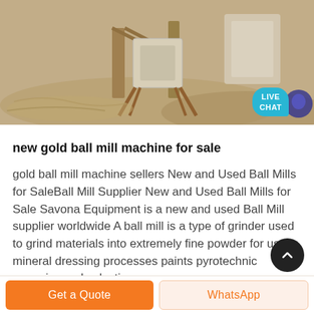[Figure (photo): Outdoor industrial photo showing a ball mill or grinding machine setup on sandy/dusty ground with structural framework visible. A 'LIVE CHAT' speech bubble button overlays the bottom-right of the image.]
new gold ball mill machine for sale
gold ball mill machine sellers New and Used Ball Mills for SaleBall Mill Supplier New and Used Ball Mills for Sale Savona Equipment is a new and used Ball Mill supplier worldwide A ball mill is a type of grinder used to grind materials into extremely fine powder for use in mineral dressing processes paints pyrotechnic ceramics and selective